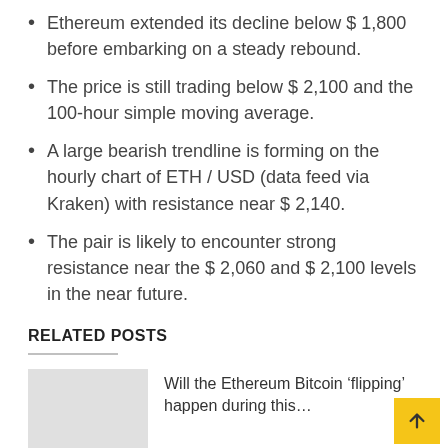Ethereum extended its decline below $ 1,800 before embarking on a steady rebound.
The price is still trading below $ 2,100 and the 100-hour simple moving average.
A large bearish trendline is forming on the hourly chart of ETH / USD (data feed via Kraken) with resistance near $ 2,140.
The pair is likely to encounter strong resistance near the $ 2,060 and $ 2,100 levels in the near future.
RELATED POSTS
Will the Ethereum Bitcoin ‘flipping’ happen during this…